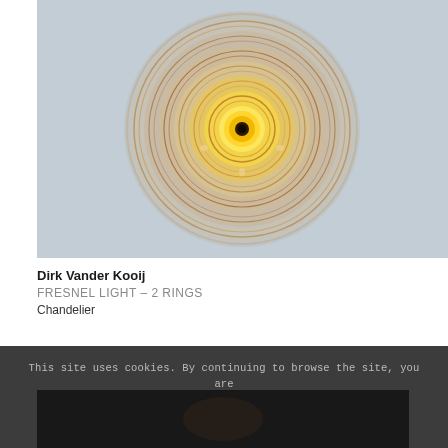[Figure (photo): Top-down view of a Fresnel Light chandelier with circular amber/gold glass lens showing concentric rings and a dark center bulb, photographed against a light gray background]
Dirk Vander Kooij
FRESNEL LIGHT – 2 RINGS
Chandelier
This site uses cookies. By continuing to browse the site, you are agreeing to our use of cookies.
OK
[Figure (photo): Partially visible dark product photo at bottom of page]